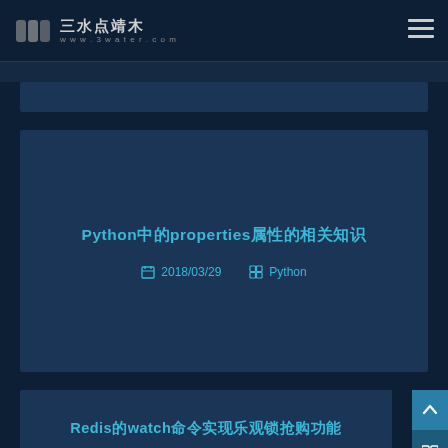三水点靖木 www.3water.com
Python中的properties属性的相关知识
2018/03/29  Python
Redis的watch命令实现乐观锁抢购功能